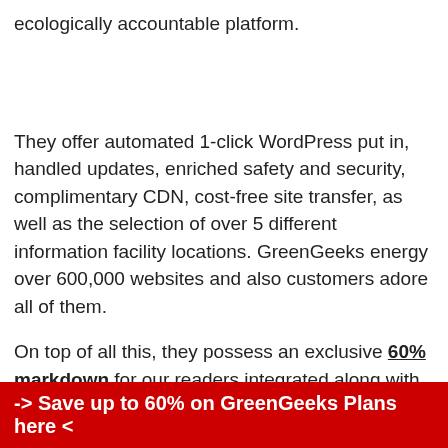ecologically accountable platform.
They offer automated 1-click WordPress put in, handled updates, enriched safety and security, complimentary CDN, cost-free site transfer, as well as the selection of over 5 different information facility locations. GreenGeeks energy over 600,000 websites and also customers adore all of them.
On top of all this, they possess an exclusive 60% markdown for our readers integrated along with complimentary SSL and also a cost-free domain name.
-> Save up to 60% on GreenGeeks Plans here <